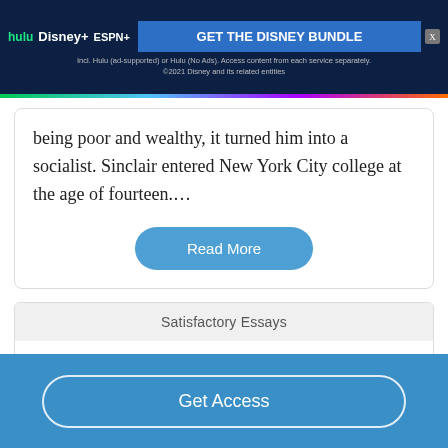[Figure (screenshot): Disney Bundle advertisement banner with Hulu, Disney+, ESPN+ logos and 'GET THE DISNEY BUNDLE' call to action on dark blue background]
being poor and wealthy, it turned him into a socialist. Sinclair entered New York City college at the age of fourteen....
Read More
Satisfactory Essays
Chew On This Thesis
380 Words
Get Access